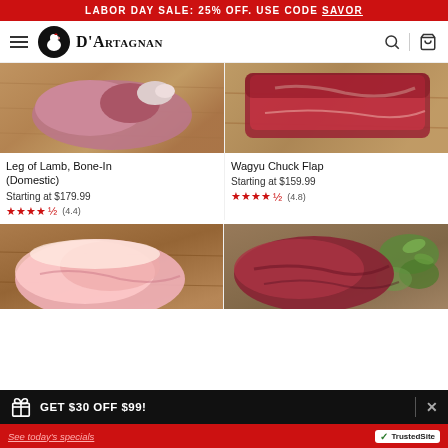LABOR DAY SALE: 25% OFF. USE CODE SAVOR
[Figure (logo): D'Artagnan website header with hamburger menu, logo (chef duck), brand name, search icon, and cart icon]
[Figure (photo): Leg of Lamb, Bone-In (Domestic) product photo on wooden cutting board]
Leg of Lamb, Bone-In (Domestic)
Starting at $179.99
★★★★½ (4.4)
[Figure (photo): Wagyu Chuck Flap product photo on wooden cutting board]
Wagyu Chuck Flap
Starting at $159.99
★★★★½ (4.8)
[Figure (photo): Pork product photo on wooden cutting board (partially visible)]
[Figure (photo): Beef product photo with herbs (partially visible)]
GET $30 OFF $99!
See today's specials | TrustedSite